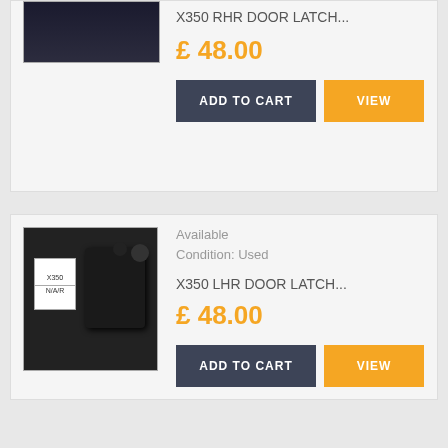[Figure (photo): Partial product photo of X350 RHR door latch part on dark background]
X350 RHR DOOR LATCH...
£ 48.00
ADD TO CART
VIEW
[Figure (photo): Product photo of X350 LHR door latch with label sticker on dark background]
Available
Condition: Used
X350 LHR DOOR LATCH...
£ 48.00
ADD TO CART
VIEW